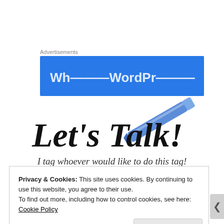Advertisements
[Figure (other): Blue advertisement banner, partially visible with white text partially cropped]
[Figure (illustration): Decorative heading image reading 'Let's Talk!' in cursive script with a blue pen illustration beside it]
I tag whoever would like to do this tag!
Privacy & Cookies: This site uses cookies. By continuing to use this website, you agree to their use.
To find out more, including how to control cookies, see here: Cookie Policy